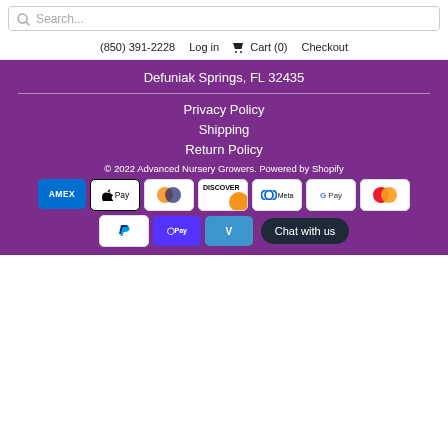Search...
(850) 391-2228  Log in  Cart (0)  Checkout
Defuniak Springs, FL 32435
Privacy Policy
Shipping
Return Policy
© 2022 Advanced Nursery Growers. Powered by Shopify
[Figure (other): Payment method icons: AMEX, Apple Pay, Diners, Discover, Meta Pay, Google Pay, Mastercard, PayPal, Shop Pay, Venmo]
Chat with us